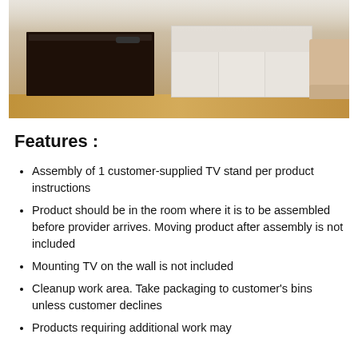[Figure (photo): Living room scene showing a dark brown coffee table on the left and a white media/TV stand unit on the right, with light wood flooring and a beige sofa partially visible on the right edge.]
Features :
Assembly of 1 customer-supplied TV stand per product instructions
Product should be in the room where it is to be assembled before provider arrives. Moving product after assembly is not included
Mounting TV on the wall is not included
Cleanup work area. Take packaging to customer's bins unless customer declines
Products requiring additional work may